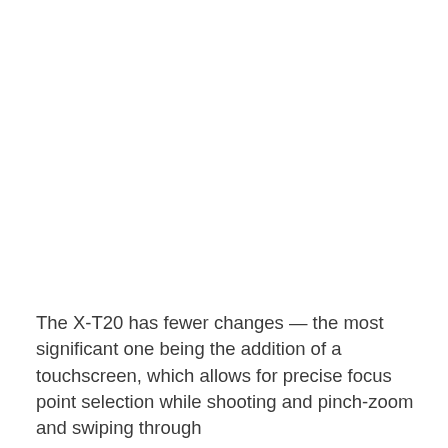The X-T20 has fewer changes — the most significant one being the addition of a touchscreen, which allows for precise focus point selection while shooting and pinch-zoom and swiping through